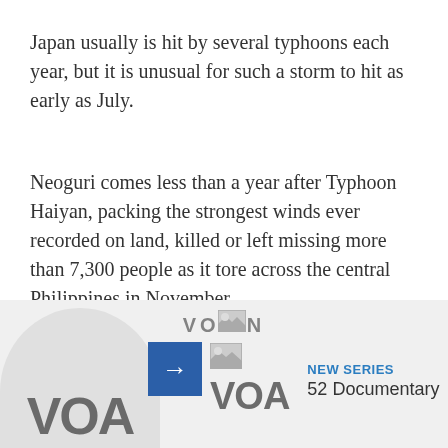Japan usually is hit by several typhoons each year, but it is unusual for such a storm to hit as early as July.
Neoguri comes less than a year after Typhoon Haiyan, packing the strongest winds ever recorded on land, killed or left missing more than 7,300 people as it tore across the central Philippines in November.
Some information for this report provided by Reuters, AFP and AP.
[Figure (screenshot): VOA promotional banner with logo, arrow button, and 'NEW SERIES - 52 Documentary' text on a light gray background]